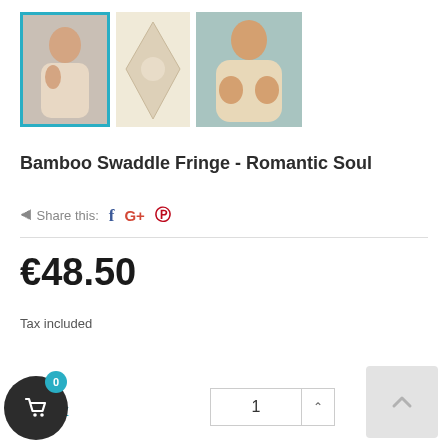[Figure (photo): Three product thumbnails of Bamboo Swaddle Fringe - Romantic Soul: first shows a baby wrapped in swaddle (selected with teal border), second shows swaddle laid flat, third shows baby in swaddle on blue surface]
Bamboo Swaddle Fringe - Romantic Soul
Share this:  f  G+  Ⓟ
€48.50
Tax included
Quantity  1
[Figure (illustration): Shopping cart icon circle button with badge showing 0]
[Figure (illustration): Back/scroll button in light grey at bottom right]